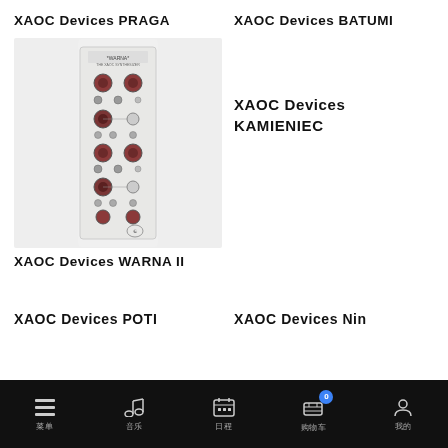XAOC Devices PRAGA
XAOC Devices BATUMI
[Figure (photo): XAOC Devices WARNA II eurorack synthesizer module with knobs and patch points on a light grey panel]
XAOC Devices KAMIENIEC
XAOC Devices WARNA II
XAOC Devices POTI
XAOC Devices Nin
菜单  音乐  日程  购物车  我的